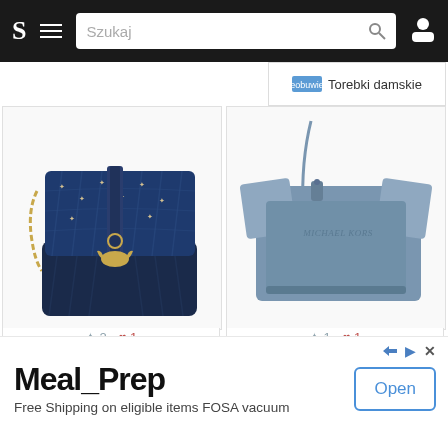S  ≡  Szukaj  🔍  👤
Torebki damskie
[Figure (photo): Dark navy blue quilted Pinko handbag with gold chain strap, gold bird clasp, and silver star/cross studs on velvet front flap]
✦ 2  ♥ 1
Torebka PINKO - Big Love Metal Birds Tracolla AI 18-19...
eobuwie.pl 🔴 do
Torebki damskie
[Figure (photo): Steel blue Michael Kors Selma crossbody bag with structured shape and signature brand hardware]
✦ 1  ♥ 1
Torebka MICHAEL MICHAEL KORS - Selma 30T3SLMM2L Denim M...
eobuwie.pl 🔴 do
Torebki damskie
Meal_Prep
Free Shipping on eligible items FOSA vacuum
Open